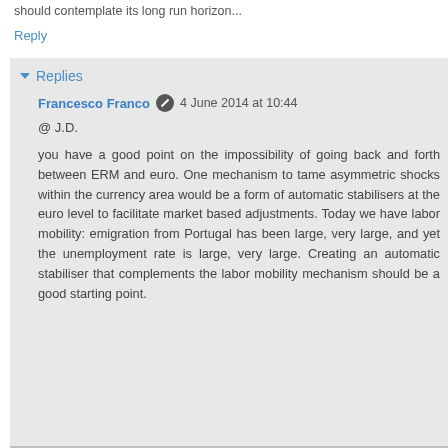should contemplate its long run horizon...
Reply
Replies
Francesco Franco  4 June 2014 at 10:44
@ J.D.
you have a good point on the impossibility of going back and forth between ERM and euro. One mechanism to tame asymmetric shocks within the currency area would be a form of automatic stabilisers at the euro level to facilitate market based adjustments. Today we have labor mobility: emigration from Portugal has been large, very large, and yet the unemployment rate is large, very large. Creating an automatic stabiliser that complements the labor mobility mechanism should be a good starting point.